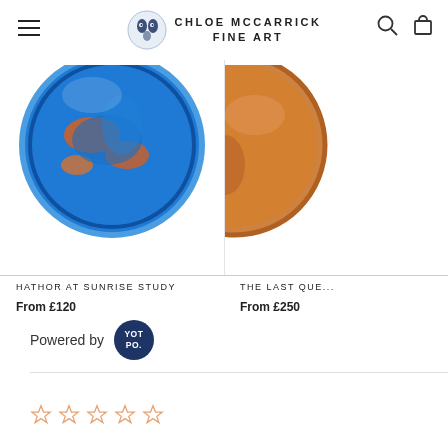CHLOE MCCARRICK FINE ART
[Figure (photo): Circular ceramic/artwork with blue glaze and orange/copper details — Hathor at Sunrise Study product image]
HATHOR AT SUNRISE STUDY
From £120
[Figure (photo): Partial circular artwork with orange/copper tones — The Last Que... product image]
THE LAST QUE...
From £250
Powered by YOT PO.
[Figure (other): Five empty star rating icons in orange/gold outline]